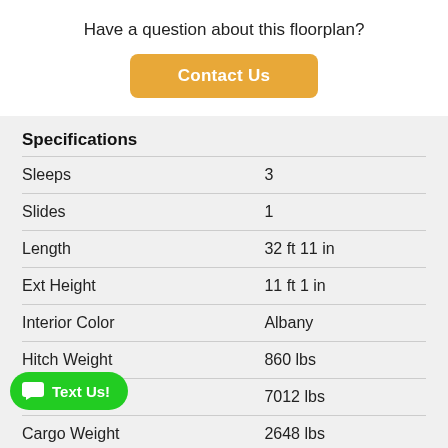Have a question about this floorplan?
Contact Us
Specifications
|  |  |
| --- | --- |
| Sleeps | 3 |
| Slides | 1 |
| Length | 32 ft 11 in |
| Ext Height | 11 ft 1 in |
| Interior Color | Albany |
| Hitch Weight | 860 lbs |
| Dry Weight | 7012 lbs |
| Cargo Weight | 2648 lbs |
| Fresh Water Capacity | 43 gals |
Text Us!